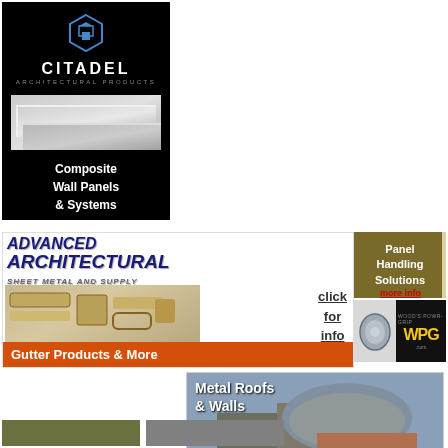[Figure (illustration): Citadel Architectural Products advertisement showing composite wall panels and systems with black background, logo, and product image]
[Figure (illustration): Advanced Architectural Sheet Metal and Supply advertisement showing gutter products and more with click for info link]
[Figure (illustration): Panel Handling Solutions advertisement with handling device image and more info link]
[Figure (illustration): Wood's Powr-Grip WPG advertisement with tool image and logo]
[Figure (illustration): ATAS International Inc metal roofs and walls advertisement with building photo and tagline: Sustainable Building Envelope Technology, click here]
[Figure (illustration): Two partial advertisement blocks at bottom of page in olive and gray colors]